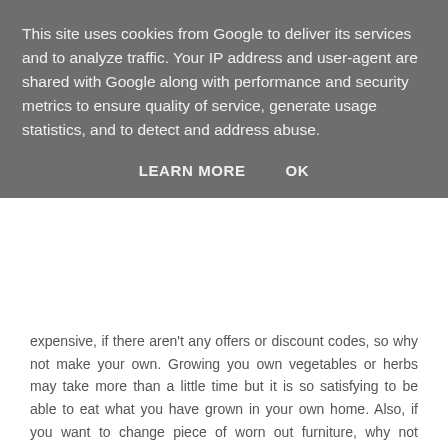This site uses cookies from Google to deliver its services and to analyze traffic. Your IP address and user-agent are shared with Google along with performance and security metrics to ensure quality of service, generate usage statistics, and to detect and address abuse.
LEARN MORE   OK
expensive, if there aren't any offers or discount codes, so why not make your own. Growing you own vegetables or herbs may take more than a little time but it is so satisfying to be able to eat what you have grown in your own home. Also, if you want to change piece of worn out furniture, why not upcycling it instead of purchasing something new? Gardening and upcycling may also turn into rewarding new hobbies!
Cutting Costs
Making a list of your expenses and cutting costs where